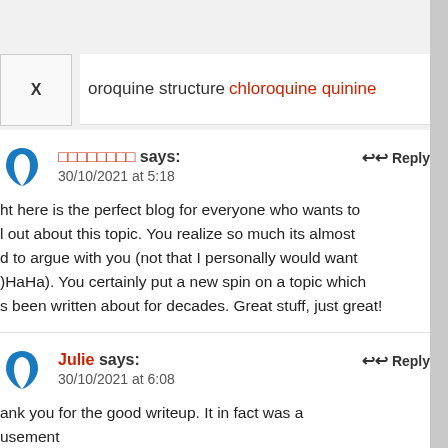oroquine structure chloroquine quinine
□□□□□□□□ says: 30/10/2021 at 5:18
ht here is the perfect blog for everyone who wants to l out about this topic. You realize so much its almost d to argue with you (not that I personally would want )HaHa). You certainly put a new spin on a topic which s been written about for decades. Great stuff, just great!
Julie says: 30/10/2021 at 6:08
ank you for the good writeup. It in fact was a usement